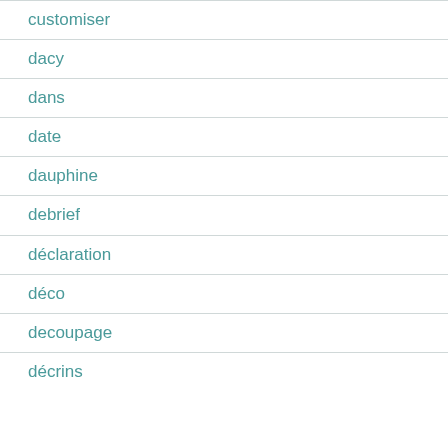customiser
dacy
dans
date
dauphine
debrief
déclaration
déco
decoupage
décrins